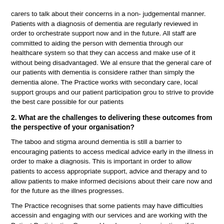carers to talk about their concerns in a non- judgemental manner. Patients with a diagnosis of dementia are regularly reviewed in order to orchestrate support now and in the future. All staff are committed to aiding the person with dementia through our healthcare system so that they can access and make use of it without being disadvantaged. We also ensure that the general care of our patients with dementia is considered rather than simply the dementia alone. The Practice works with secondary care, local support groups and our patient participation group to strive to provide the best care possible for our patients
2. What are the challenges to delivering these outcomes from the perspective of your organisation?
The taboo and stigma around dementia is still a barrier to encouraging patients to access medical advice early in the illness in order to make a diagnosis. This is important in order to allow patients to access appropriate support, advice and therapy and to allow patients to make informed decisions about their care now and for the future as the illness progresses.
The Practice recognises that some patients may have difficulties accessing and engaging with our services and are working with the Patient Participation Group and local support organisations if they need help